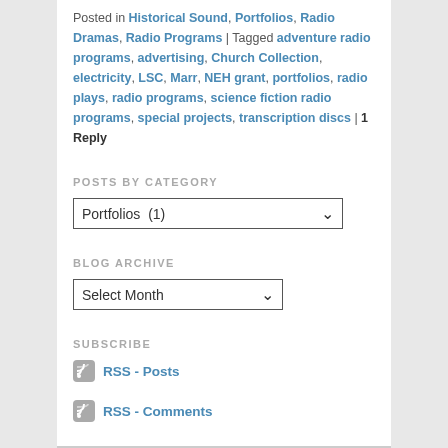Posted in Historical Sound, Portfolios, Radio Dramas, Radio Programs | Tagged adventure radio programs, advertising, Church Collection, electricity, LSC, Marr, NEH grant, portfolios, radio plays, radio programs, science fiction radio programs, special projects, transcription discs | 1 Reply
POSTS BY CATEGORY
Portfolios  (1) [dropdown]
BLOG ARCHIVE
Select Month [dropdown]
SUBSCRIBE
RSS - Posts
RSS - Comments